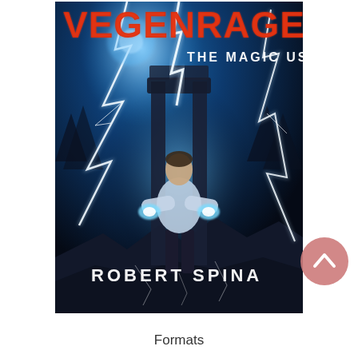[Figure (illustration): Book cover for 'Vegenrage: The Magic User' by Robert Spina. Dark fantasy cover showing a man standing with glowing energy in his hands, surrounded by lightning bolts against a stormy blue-black sky with ruins in the background. Title 'VEGENRAGE' in large red/orange letters at top, subtitle 'THE MAGIC USER' in white, author name 'ROBERT SPINA' in white at bottom.]
Formats